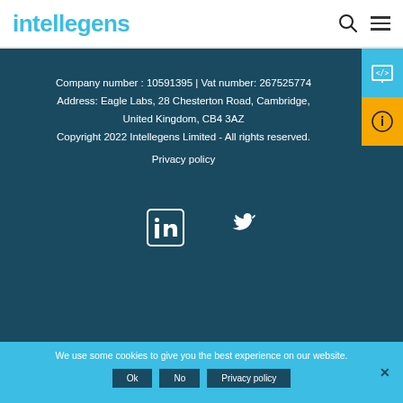intellegens
Company number : 10591395 | Vat number: 267525774
Address: Eagle Labs, 28 Chesterton Road, Cambridge, United Kingdom, CB4 3AZ
Copyright 2022 Intellegens Limited - All rights reserved.
Privacy policy
[Figure (illustration): LinkedIn and Twitter social media icons in white]
We use some cookies to give you the best experience on our website.
Ok  No  Privacy policy